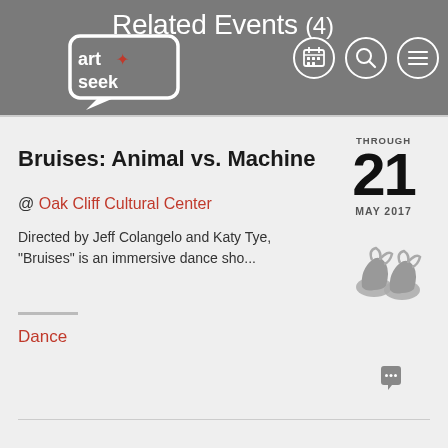Related Events (4)
[Figure (logo): ArtSeek logo - white speech bubble with 'art seek' text and a red star/plus icon]
Bruises: Animal vs. Machine
@ Oak Cliff Cultural Center
Directed by Jeff Colangelo and Katy Tye, "Bruises" is an immersive dance sho...
THROUGH 21 MAY 2017
[Figure (illustration): Ballet shoes / dance slippers icon in grey]
Dance
[Figure (illustration): Comment bubble icon]